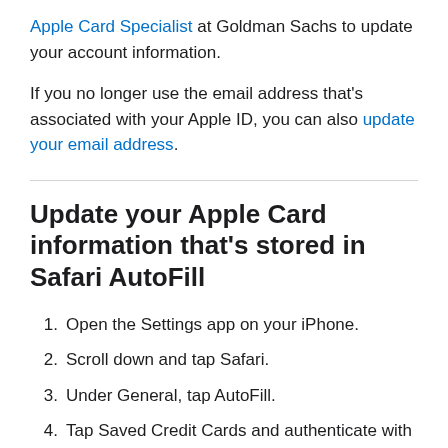Apple Card Specialist at Goldman Sachs to update your account information.
If you no longer use the email address that's associated with your Apple ID, you can also update your email address.
Update your Apple Card information that's stored in Safari AutoFill
Open the Settings app on your iPhone.
Scroll down and tap Safari.
Under General, tap AutoFill.
Tap Saved Credit Cards and authenticate with Face ID, Touch ID, or your passcode.